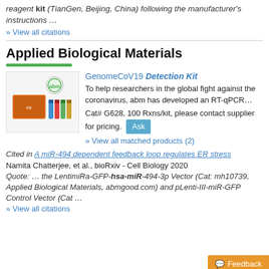reagent kit (TianGen, Beijing, China) following the manufacturer's instructions …
» View all citations
Applied Biological Materials
[Figure (photo): Photo of GenomeCoV19 Detection Kit showing an orange kit box and colored vials with abm logo]
GenomeCoV19 Detection Kit
To help researchers in the global fight against the coronavirus, abm has developed an RT-qPCR…
Cat# G628, 100 Rxns/kit, please contact supplier for pricing. Ask
» View all matched products (2)
Cited in A miR-494 dependent feedback loop regulates ER stress
Namita Chatterjee, et al., bioRxiv - Cell Biology 2020
Quote: … the LentimiRa-GFP-hsa-miR-494-3p Vector (Cat: mh10739, Applied Biological Materials, abmgood.com) and pLenti-III-miR-GFP Control Vector (Cat …
» View all citations